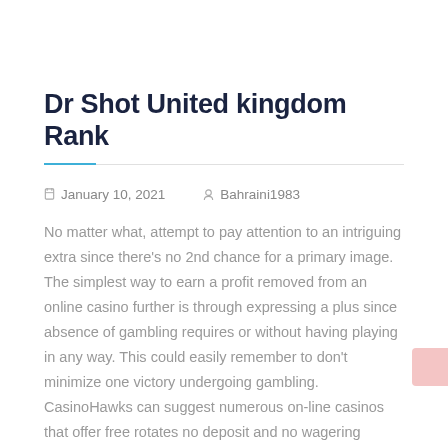Dr Shot United kingdom Rank
January 10, 2021   Bahraini1983
No matter what, attempt to pay attention to an intriguing extra since there’s no 2nd chance for a primary image. The simplest way to earn a profit removed from an online casino further is through expressing a plus since absence of gambling requires or without having playing in any way. This could easily remember to don’t minimize one victory undergoing gambling. CasinoHawks can suggest numerous on-line casinos that offer free rotates no deposit and no wagering benefits, and other along with his welcome bonuses due to lowest gambling demands.